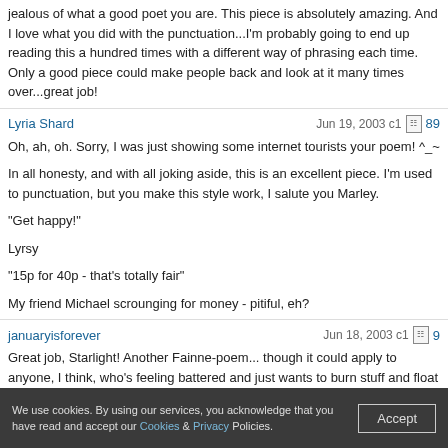jealous of what a good poet you are. This piece is absolutely amazing. And I love what you did with the punctuation...I'm probably going to end up reading this a hundred times with a different way of phrasing each time. Only a good piece could make people back and look at it many times over...great job!
Lyria Shard — Jun 19, 2003 c1 [doc icon] 89
Oh, ah, oh. Sorry, I was just showing some internet tourists your poem! ^_~

In all honesty, and with all joking aside, this is an excellent piece. I'm used to punctuation, but you make this style work, I salute you Marley.

"Get happy!"

Lyrsy

"15p for 40p - that's totally fair"

My friend Michael scrounging for money - pitiful, eh?
januaryisforever — Jun 18, 2003 c1 [doc icon] 9
Great job, Starlight! Another Fainne-poem... though it could apply to anyone, I think, who's feeling battered and just wants to burn stuff and float away. Wasn't there a commercial or a Ms. Shultz science video on stuff placed in liquid nitrogen, then dropped? I recall a frozen rose shattering in some program on TV. Anyway... write more (as always)!
We use cookies. By using our services, you acknowledge that you have read and accept our Cookies & Privacy Policies.
Accept